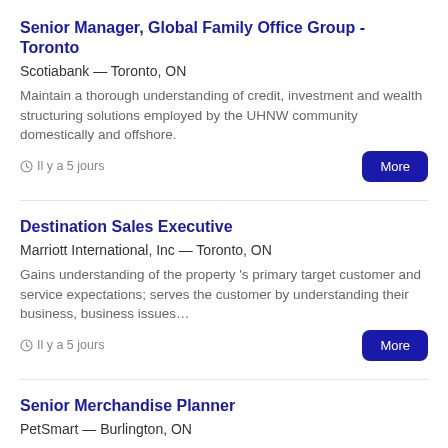Senior Manager, Global Family Office Group - Toronto
Scotiabank — Toronto, ON
Maintain a thorough understanding of credit, investment and wealth structuring solutions employed by the UHNW community domestically and offshore.
Il y a 5 jours
Destination Sales Executive
Marriott International, Inc — Toronto, ON
Gains understanding of the property 's primary target customer and service expectations; serves the customer by understanding their business, business issues…
Il y a 5 jours
Senior Merchandise Planner
PetSmart — Burlington, ON
This position is responsible for the development of accurate annual reporting, forecasting financial and merchandising plans that support the merchandise…